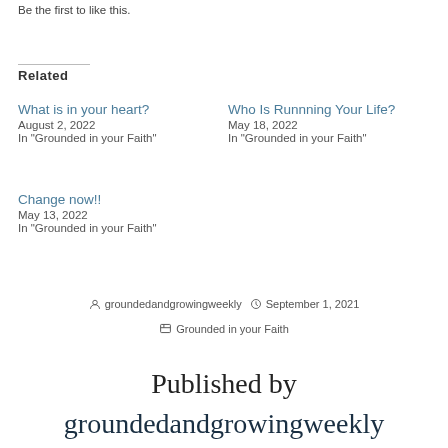Be the first to like this.
Related
What is in your heart?
August 2, 2022
In "Grounded in your Faith"
Who Is Runnning Your Life?
May 18, 2022
In "Grounded in your Faith"
Change now!!
May 13, 2022
In "Grounded in your Faith"
groundedandgrowingweekly   September 1, 2021   Grounded in your Faith
Published by groundedandgrowingweekly